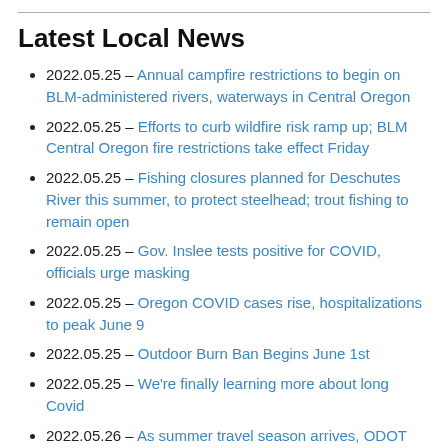Latest Local News
2022.05.25 – Annual campfire restrictions to begin on BLM-administered rivers, waterways in Central Oregon
2022.05.25 – Efforts to curb wildfire risk ramp up; BLM Central Oregon fire restrictions take effect Friday
2022.05.25 – Fishing closures planned for Deschutes River this summer, to protect steelhead; trout fishing to remain open
2022.05.25 – Gov. Inslee tests positive for COVID, officials urge masking
2022.05.25 – Oregon COVID cases rise, hospitalizations to peak June 9
2022.05.25 – Outdoor Burn Ban Begins June 1st
2022.05.25 – We're finally learning more about long Covid
2022.05.26 – As summer travel season arrives, ODOT